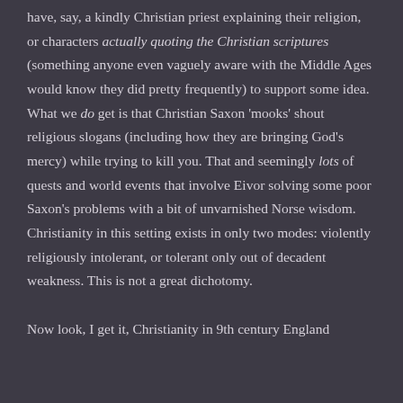have, say, a kindly Christian priest explaining their religion, or characters actually quoting the Christian scriptures (something anyone even vaguely aware with the Middle Ages would know they did pretty frequently) to support some idea. What we do get is that Christian Saxon 'mooks' shout religious slogans (including how they are bringing God's mercy) while trying to kill you. That and seemingly lots of quests and world events that involve Eivor solving some poor Saxon's problems with a bit of unvarnished Norse wisdom. Christianity in this setting exists in only two modes: violently religiously intolerant, or tolerant only out of decadent weakness. This is not a great dichotomy.

Now look, I get it, Christianity in 9th century England